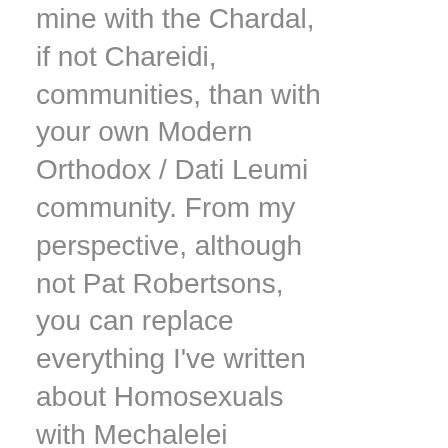mine with the Chardal, if not Chareidi, communities, than with your own Modern Orthodox / Dati Leumi community. From my perspective, although not Pat Robertsons, you can replace everything I've written about Homosexuals with Mechalelei Shabbos and I will stand by it.

[Note that I did, in my original post, mentions several reasons why homosexuality may in fact be worse